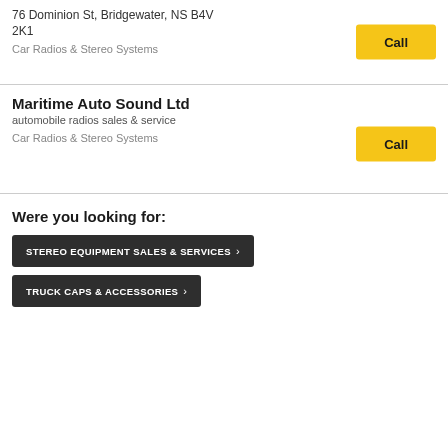76 Dominion St, Bridgewater, NS B4V 2K1
Car Radios & Stereo Systems
Call
Maritime Auto Sound Ltd
automobile radios sales & service
Car Radios & Stereo Systems
Call
Were you looking for:
STEREO EQUIPMENT SALES & SERVICES
TRUCK CAPS & ACCESSORIES